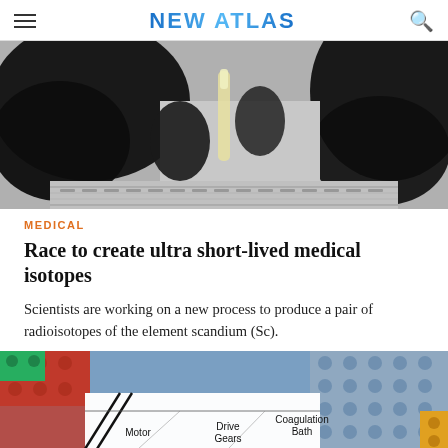NEW ATLAS
[Figure (photo): Close-up photo of dark mechanical gears or robotic hand holding a small vial or syringe, with blurred background suggesting a laboratory or industrial setting.]
MEDICAL
Race to create ultra short-lived medical isotopes
Scientists are working on a new process to produce a pair of radioisotopes of the element scandium (Sc).
[Figure (photo): Photo showing colorful LEGO bricks in background with a white label/diagram visible showing labels: Motor, Drive Gears, Coagulation Bath.]